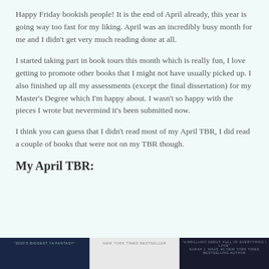Happy Friday bookish people! It is the end of April already, this year is going way too fast for my liking. April was an incredibly busy month for me and I didn't get very much reading done at all.
I started taking part in book tours this month which is really fun, I love getting to promote other books that I might not have usually picked up. I also finished up all my assessments (except the final dissertation) for my Master's Degree which I'm happy about. I wasn't so happy with the pieces I wrote but nevermind it's been submitted now.
I think you can guess that I didn't read most of my April TBR, I did read a couple of books that were not on my TBR though.
My April TBR:
[Figure (photo): Three book covers arranged horizontally at the bottom of the page: a dark blue cover on the left with text '2020's Biggest YA Fantasy', a light grey/white cover in the middle labeled 'New York Times Bestseller', and a dark navy cover on the right with a quote 'A brilliant debut full of everything I love'.]